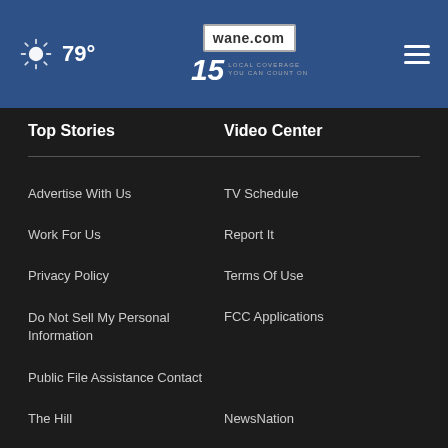79° wane.com 15 LOCAL COVERAGE YOU CAN COUNT ON
Top Stories
Video Center
Advertise With Us
TV Schedule
Work For Us
Report It
Privacy Policy
Terms Of Use
Do Not Sell My Personal Information
FCC Applications
Public File Assistance Contact
The Hill
NewsNation